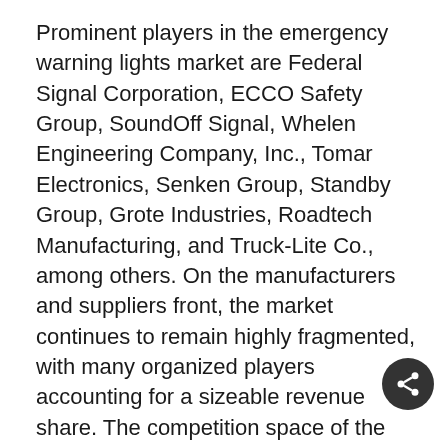Prominent players in the emergency warning lights market are Federal Signal Corporation, ECCO Safety Group, SoundOff Signal, Whelen Engineering Company, Inc., Tomar Electronics, Senken Group, Standby Group, Grote Industries, Roadtech Manufacturing, and Truck-Lite Co., among others. On the manufacturers and suppliers front, the market continues to remain highly fragmented, with many organized players accounting for a sizeable revenue share. The competition space of the emergency warning lights market has been dominated by multiple product launches. For instance,
· In 2020, Federal Signal Corporation introduced its 21-inch Allegiant Mini-Light bar MU810. The newly launched product is built for work zone safety, which has a dual-color and bed light option for superior visibility.
· In 2020, SoundOff Signal of ECCO Safety Group...